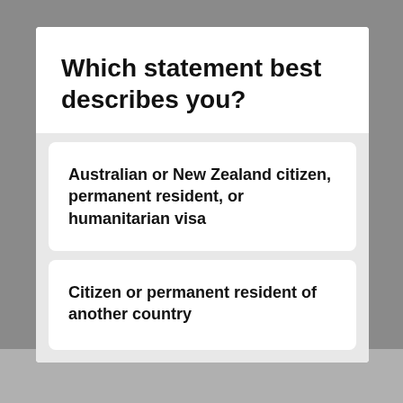Which statement best describes you?
Australian or New Zealand citizen, permanent resident, or humanitarian visa
Citizen or permanent resident of another country